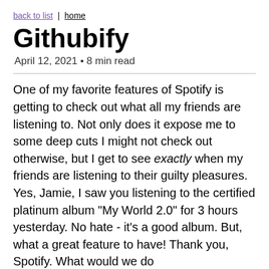back to list | home
Githubify
April 12, 2021 • 8 min read
One of my favorite features of Spotify is getting to check out what all my friends are listening to. Not only does it expose me to some deep cuts I might not check out otherwise, but I get to see exactly when my friends are listening to their guilty pleasures. Yes, Jamie, I saw you listening to the certified platinum album "My World 2.0" for 3 hours yesterday. No hate - it's a good album. But, what a great feature to have! Thank you, Spotify. What would we do